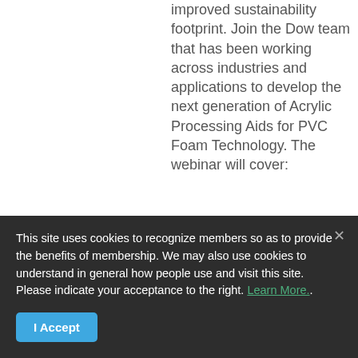improved sustainability footprint. Join the Dow team that has been working across industries and applications to develop the next generation of Acrylic Processing Aids for PVC Foam Technology. The webinar will cover:
Acrylic Processing Aid Fundamentals
This site uses cookies to recognize members so as to provide the benefits of membership. We may also use cookies to understand in general how people use and visit this site. Please indicate your acceptance to the right. Learn More..